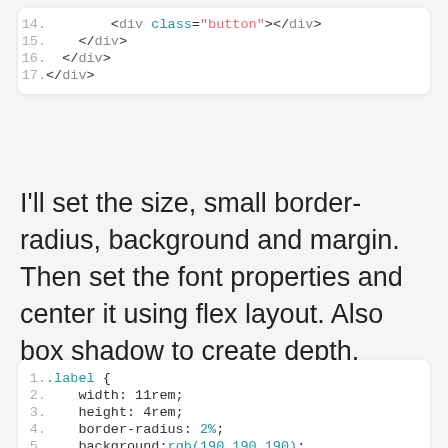[Figure (screenshot): Code block showing HTML lines 14–17: div class='button' and closing div tags]
I'll set the size, small border-radius, background and margin. Then set the font properties and center it using flex layout. Also box shadow to create depth.
[Figure (screenshot): Code block showing CSS for .label class, lines 1–11+, including width, height, border-radius, background, margin-bottom, font-size, font-family, display, justify-content, align-items]